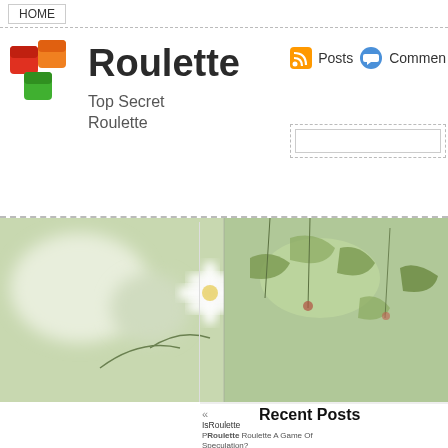HOME
Roulette
Top Secret Roulette
[Figure (logo): Colorful 3D cube logo with red, orange, and green cubes]
[Figure (photo): Two-panel nature photo: left panel shows blurred white flower, right panel shows green plant with buds]
Categories
Roulette (583)
Archives
August 2022
July 2022
June 2022
May 2022
April 2022
March 2022
Recent Posts
Is Roulette A Game Of Speculation?
Roulette Winning Strategies
Pointers to Help When Betting on Roulette
Hints to Help When Wagering on Roulette
Tricks to Help When Betting on Roulette